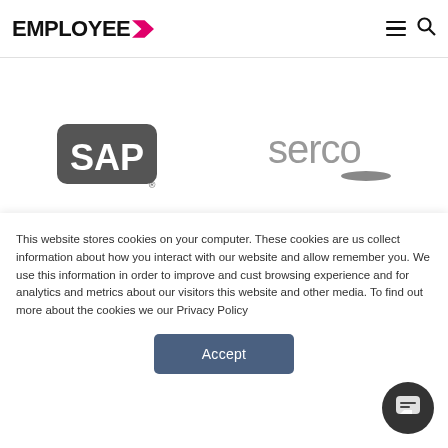EMPLOYEE >
[Figure (logo): SAP logo — bold white SAP lettering on dark rounded rectangle]
[Figure (logo): Serco logo — lowercase grey 'serco' with oval underline accent]
[Figure (screenshot): Dark/black section of the page with partial text 'Follow us on twitter']
This website stores cookies on your computer. These cookies are us collect information about how you interact with our website and allow remember you. We use this information in order to improve and cust browsing experience and for analytics and metrics about our visitors this website and other media. To find out more about the cookies we our Privacy Policy
[Figure (other): Accept button — dark blue-grey rounded rectangle button with 'Accept' text]
[Figure (other): Chat button — dark circular chat icon button in bottom right corner]